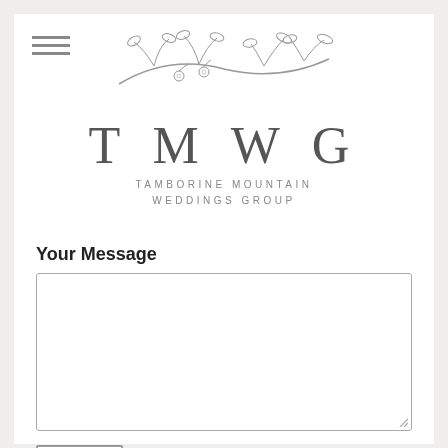[Figure (logo): TMWG - Tamborine Mountain Weddings Group logo with decorative floral branch above large serif letters TMWG and tagline below]
Your Message
[Figure (screenshot): Message textarea input box with resize handle]
Submit